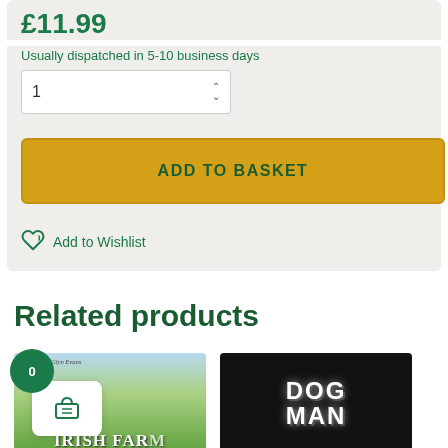£11.99
Usually dispatched in 5-10 business days
1
ADD TO BASKET
Add to Wishlist
Related products
[Figure (photo): Book cover thumbnail: Irish Farm with green fields and sky]
[Figure (photo): Book cover thumbnail: Dog Man title in white bold text on black background]